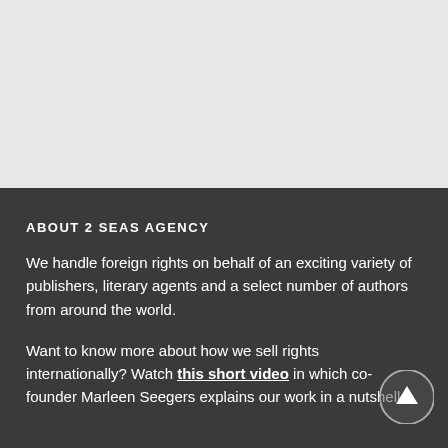ABOUT 2 SEAS AGENCY
We handle foreign rights on behalf of an exciting variety of publishers, literary agents and a select number of authors from around the world.
Want to know more about how we sell rights internationally? Watch this short video in which co-founder Marleen Seegers explains our work in a nutshell.